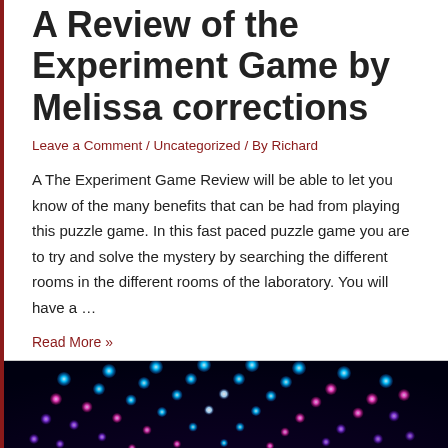A Review of the Experiment Game by Melissa corrections
Leave a Comment / Uncategorized / By Richard
A The Experiment Game Review will be able to let you know of the many benefits that can be had from playing this puzzle game. In this fast paced puzzle game you are to try and solve the mystery by searching the different rooms in the different rooms of the laboratory. You will have a …
Read More »
[Figure (photo): Colorful glowing dots arranged in a fan/arc pattern against a dark background, with blue, pink, and purple lights radiating outward]